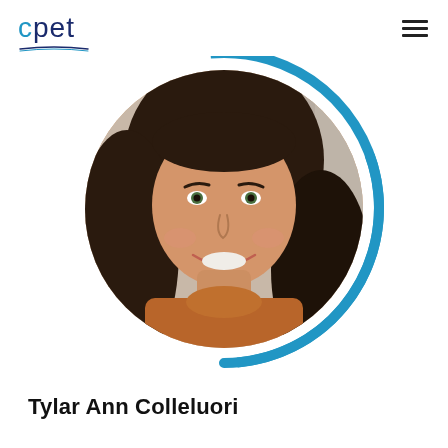cpet
[Figure (photo): Portrait photo of Tylar Ann Colleluori, a young woman with long dark hair and a warm smile, wearing an orange/rust turtleneck sweater. The photo is cropped in a circle with a decorative blue arc/ring around it. Urban background visible.]
Tylar Ann Colleluori